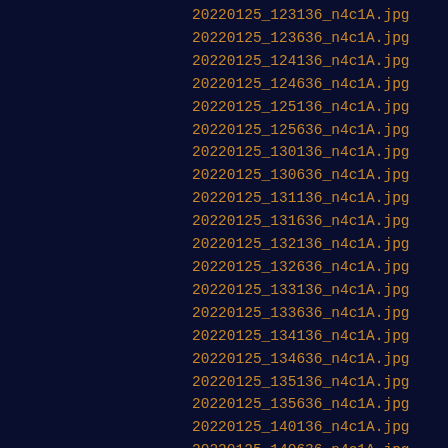20220125_123136_n4c1A.jpg
20220125_123636_n4c1A.jpg
20220125_124136_n4c1A.jpg
20220125_124636_n4c1A.jpg
20220125_125136_n4c1A.jpg
20220125_125636_n4c1A.jpg
20220125_130136_n4c1A.jpg
20220125_130636_n4c1A.jpg
20220125_131136_n4c1A.jpg
20220125_131636_n4c1A.jpg
20220125_132136_n4c1A.jpg
20220125_132636_n4c1A.jpg
20220125_133136_n4c1A.jpg
20220125_133636_n4c1A.jpg
20220125_134136_n4c1A.jpg
20220125_134636_n4c1A.jpg
20220125_135136_n4c1A.jpg
20220125_135636_n4c1A.jpg
20220125_140136_n4c1A.jpg
20220125_140636_n4c1A.jpg
20220125_141136_n4c1A.jpg
20220125_141636_n4c1A.jpg
20220125_142136_n4c1A.jpg
20220125_142636_n4c1A.jpg